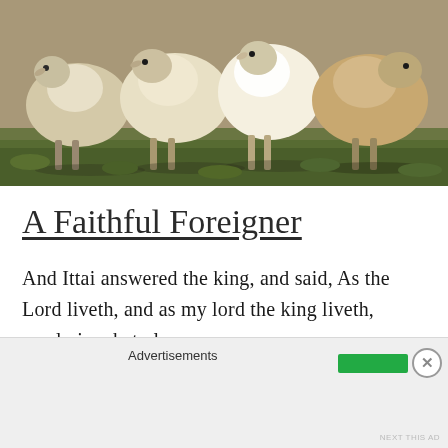[Figure (photo): A flock of sheep standing close together on green grass, facing the camera. The sheep are white and beige/tan colored, with woolly coats.]
A Faithful Foreigner
And Ittai answered the king, and said, As the Lord liveth, and as my lord the king liveth, surely in what place my
Advertisements